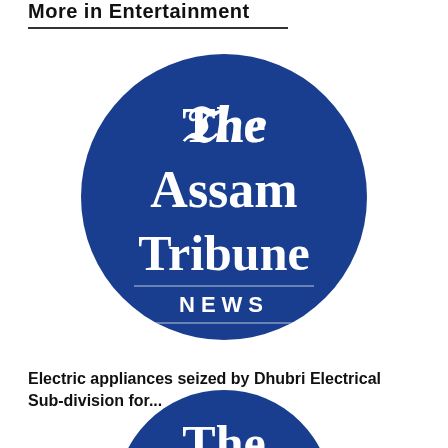More in Entertainment
[Figure (logo): The Assam Tribune News circular logo — dark blue circle with white serif/blackletter text reading 'The Assam Tribune' and 'NEWS' in spaced capitals below a thin horizontal line]
Electric appliances seized by Dhubri Electrical Subdivision for...
[Figure (logo): The Assam Tribune circular logo — dark blue circle with white blackletter text, partially visible at bottom of page]